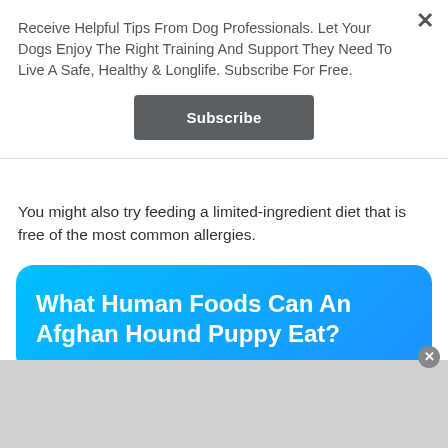Receive Helpful Tips From Dog Professionals. Let Your Dogs Enjoy The Right Training And Support They Need To Live A Safe, Healthy & Longlife. Subscribe For Free.
Subscribe
You might also try feeding a limited-ingredient diet that is free of the most common allergies.
What Human Foods Can An Afghan Hound Puppy Eat?
Although many human foods are safe for dogs, they should be consumed in moderation.